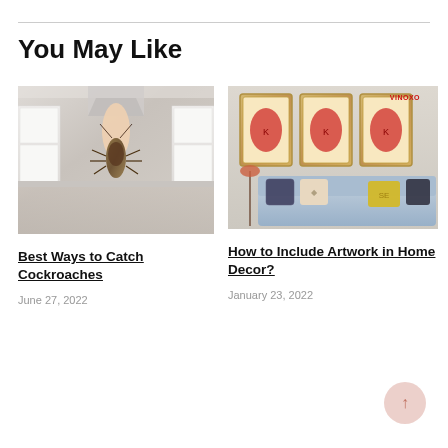You May Like
[Figure (photo): Close-up of a cockroach being held by fingers in a kitchen environment with white cabinets in the background]
Best Ways to Catch Cockroaches
June 27, 2022
[Figure (photo): Living room wall art showing playing card king illustrations (VINOXO brand) above a blue sofa with decorative pillows]
How to Include Artwork in Home Decor?
January 23, 2022